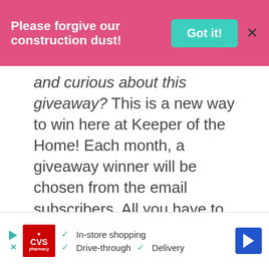Please forgive our construction dust! Got it! X
and curious about this giveaway? This is a new way to win here at Keeper of the Home! Each month, a giveaway winner will be chosen from the email subscribers. All you have to …
Read More
Category: Homemaking
[Figure (photo): Partial photo of wooden rolling pin or kitchen implements on a surface]
[Figure (screenshot): CVS Pharmacy advertisement banner showing: In-store shopping, Drive-through, Delivery options with navigation icon]